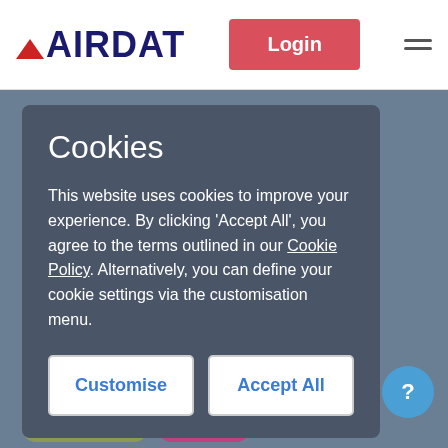AIRDAT | Login | Navigation menu
Cookies
This website uses cookies to improve your experience. By clicking 'Accept All', you agree to the terms outlined in our Cookie Policy. Alternatively, you can define your cookie settings via the customisation menu.
Customise | Accept All
[Figure (screenshot): Help/chat button circle with question mark icon, bottom right corner]
Airside Driving  Features